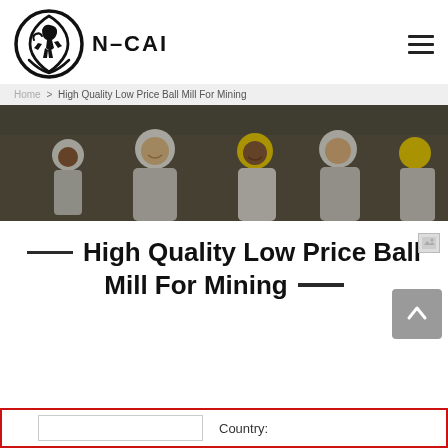N-CAI (logo and navigation header)
Home > High Quality Low Price Ball Mill For Mining
[Figure (photo): Group of construction/mining workers wearing hard hats smiling, with industrial equipment in background]
High Quality Low Price Ball Mill For Mining
Country: